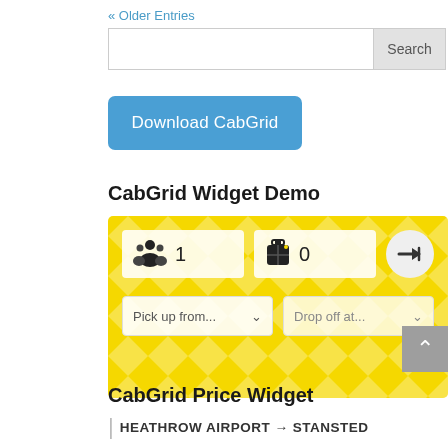« Older Entries
Search
[Figure (screenshot): Blue download button labeled 'Download CabGrid']
CabGrid Widget Demo
[Figure (screenshot): CabGrid booking widget with yellow diamond-pattern background, passenger count showing 1, luggage count showing 0, a go button with arrow, Pick up from dropdown, and Drop off at dropdown]
CabGrid Price Widget
| HEATHROW AIRPORT → STANSTED